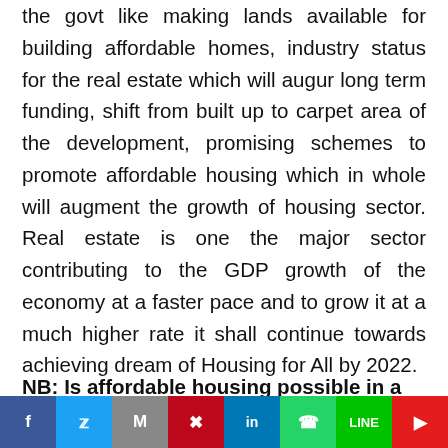the govt like making lands available for building affordable homes, industry status for the real estate which will augur long term funding, shift from built up to carpet area of the development, promising schemes to promote affordable housing which in whole will augment the growth of housing sector. Real estate is one the major sector contributing to the GDP growth of the economy at a faster pace and to grow it at a much higher rate it shall continue towards achieving dream of Housing for All by 2022.
NB: Is affordable housing possible in a
[Figure (other): Social media share bar with icons for Facebook, Twitter, Gmail, Pinterest, LinkedIn, WhatsApp, LINE, and Flipboard]